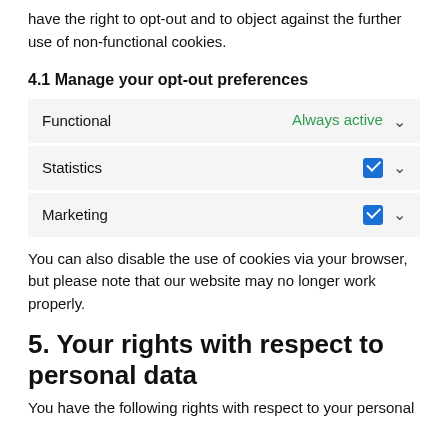have the right to opt-out and to object against the further use of non-functional cookies.
4.1 Manage your opt-out preferences
| Category | Status |
| --- | --- |
| Functional | Always active ∨ |
| Statistics | ☑ ∨ |
| Marketing | ☑ ∨ |
You can also disable the use of cookies via your browser, but please note that our website may no longer work properly.
5. Your rights with respect to personal data
You have the following rights with respect to your personal